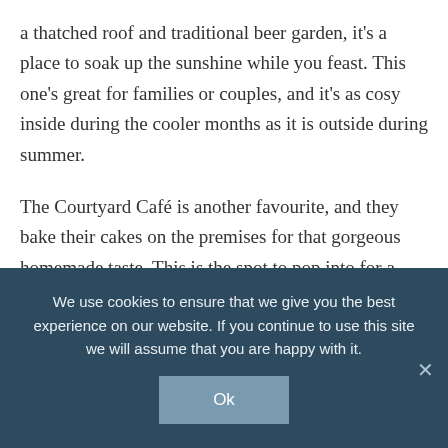a thatched roof and traditional beer garden, it's a place to soak up the sunshine while you feast. This one's great for families or couples, and it's as cosy inside during the cooler months as it is outside during summer.
The Courtyard Café is another favourite, and they bake their cakes on the premises for that gorgeous homemade taste. This is the spot to pop into for a picnic or a pitstop, and they're great for vegans and veggies too. You've got to have fish and chips at least once during your break, and Tony's Fish and Chips has a loyal following and glowing
We use cookies to ensure that we give you the best experience on our website. If you continue to use this site we will assume that you are happy with it.
Ok